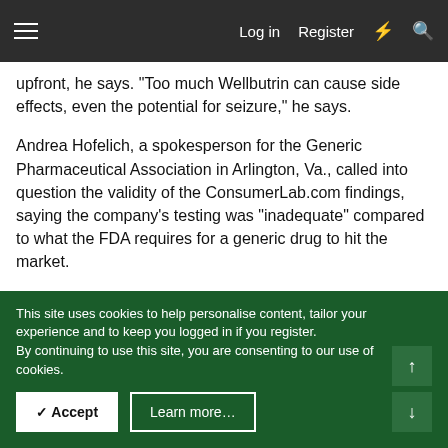Log in  Register
upfront, he says. "Too much Wellbutrin can cause side effects, even the potential for seizure," he says.
Andrea Hofelich, a spokesperson for the Generic Pharmaceutical Association in Arlington, Va., called into question the validity of the ConsumerLab.com findings, saying the company's testing was "inadequate" compared to what the FDA requires for a generic drug to hit the market.
"The FDA is the world's gold standard for reviewing brand and generic medicines," she says.
Teva's Goshko also took issue with ConsumerLab.com's
This site uses cookies to help personalise content, tailor your experience and to keep you logged in if you register.
By continuing to use this site, you are consenting to our use of cookies.